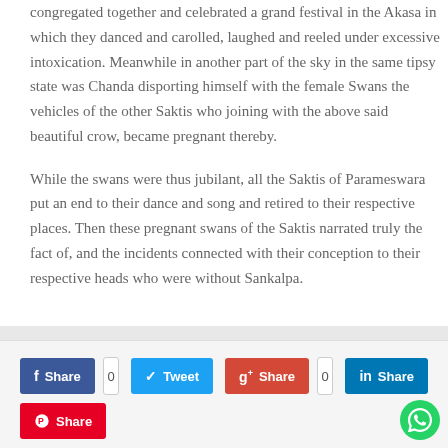congregated together and celebrated a grand festival in the Akasa in which they danced and carolled, laughed and reeled under excessive intoxication. Meanwhile in another part of the sky in the same tipsy state was Chanda disporting himself with the female Swans the vehicles of the other Saktis who joining with the above said beautiful crow, became pregnant thereby.
While the swans were thus jubilant, all the Saktis of Parameswara put an end to their dance and song and retired to their respective places. Then these pregnant swans of the Saktis narrated truly the fact of, and the incidents connected with their conception to their respective heads who were without Sankalpa.
[Figure (infographic): Social share buttons: Facebook Share (count 0), Twitter Tweet, Google+ Share (count 0), LinkedIn Share, Pinterest Share]